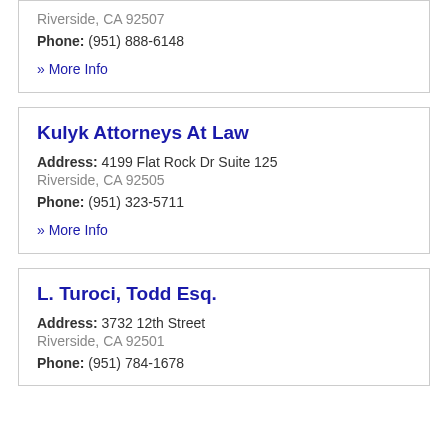Riverside, CA 92507
Phone: (951) 888-6148
» More Info
Kulyk Attorneys At Law
Address: 4199 Flat Rock Dr Suite 125 Riverside, CA 92505
Phone: (951) 323-5711
» More Info
L. Turoci, Todd Esq.
Address: 3732 12th Street Riverside, CA 92501
Phone: (951) 784-1678